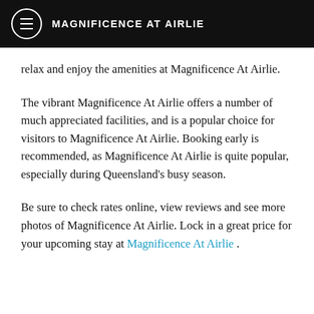MAGNIFICENCE AT AIRLIE
relax and enjoy the amenities at Magnificence At Airlie.
The vibrant Magnificence At Airlie offers a number of much appreciated facilities, and is a popular choice for visitors to Magnificence At Airlie. Booking early is recommended, as Magnificence At Airlie is quite popular, especially during Queensland's busy season.
Be sure to check rates online, view reviews and see more photos of Magnificence At Airlie. Lock in a great price for your upcoming stay at Magnificence At Airlie .